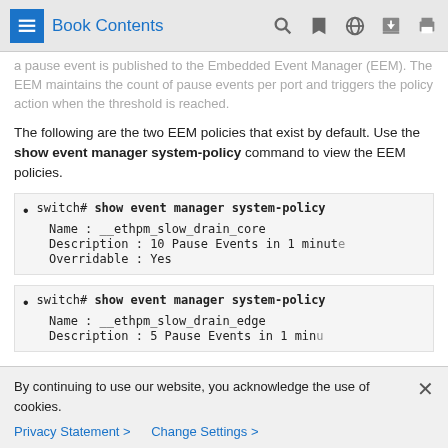Book Contents
a pause event is published to the Embedded Event Manager (EEM). The EEM maintains the count of pause events per port and triggers the policy action when the threshold is reached.
The following are the two EEM policies that exist by default. Use the show event manager system-policy command to view the EEM policies.
switch# show event manager system-policy
    Name : __ethpm_slow_drain_core
    Description : 10 Pause Events in 1 minute
    Overridable : Yes
switch# show event manager system-policy
    Name : __ethpm_slow_drain_edge
    Description : 5 Pause Events in 1 min
By continuing to use our website, you acknowledge the use of cookies.
Privacy Statement > Change Settings >